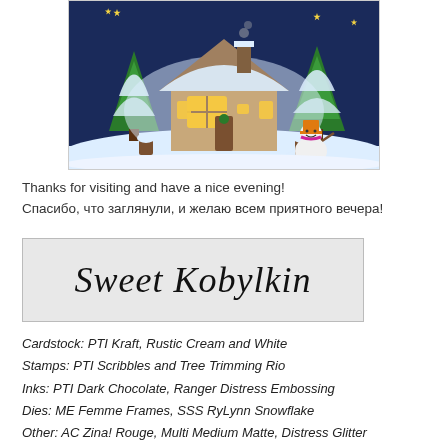[Figure (illustration): Winter Christmas scene illustration: a cozy snow-covered house with lit windows, surrounded by snow-covered pine trees, a snowman with an orange hat and pink scarf, small snow-capped posts/stumps, all against a dark blue night sky with yellow stars.]
Thanks for visiting and have a nice evening!
Спасибо, что заглянули, и желаю всем приятного вечера!
[Figure (illustration): Signature image with cursive script text reading 'Sweet Kobylkin' on a light grey background with a watermark.]
Cardstock: PTI Kraft, Rustic Cream and White
Stamps: PTI Scribbles and Tree Trimming Rio
Inks: PTI Dark Chocolate, Ranger Distress Embossing
Dies: ME Femme Frames, SSS RyLynn Snowflake
Other: AC Zina! Rouge, Multi Medium Matte, Distress Glitter